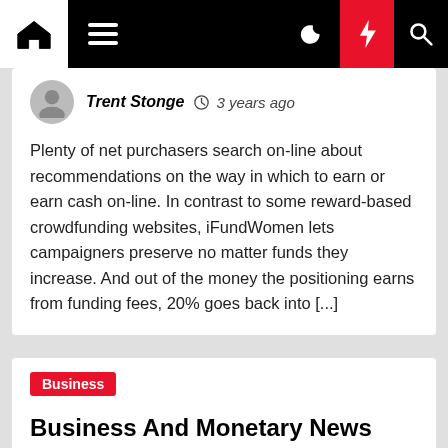Navigation bar with home, menu, moon, bolt, and search icons
Trent Stonge  3 years ago
Plenty of net purchasers search on-line about recommendations on the way in which to earn or earn cash on-line. In contrast to some reward-based crowdfunding websites, iFundWomen lets campaigners preserve no matter funds they increase. And out of the money the positioning earns from funding fees, 20% goes back into [...]
Business
Business And Monetary News
Trent Stonge  3 years ago